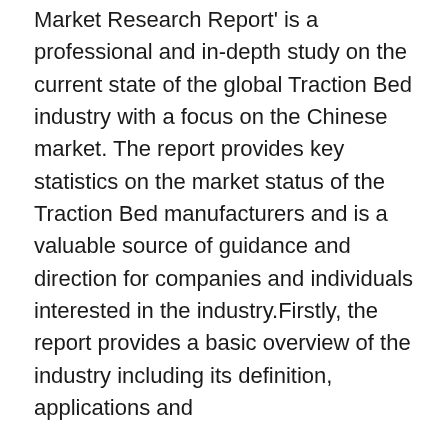Market Research Report' is a professional and in-depth study on the current state of the global Traction Bed industry with a focus on the Chinese market. The report provides key statistics on the market status of the Traction Bed manufacturers and is a valuable source of guidance and direction for companies and individuals interested in the industry.Firstly, the report provides a basic overview of the industry including its definition, applications and
Feature News
Market your brand and products to China
CarePaths Releases New Digital Front Door App Designed to Improve Psychotherapy Outcomes and Access to Care
Independent Reggae Artist Sister Julie Releases Star Studded Debut Album
MARRIOTT BONVOY TO ORGANIZE THAILAND'S